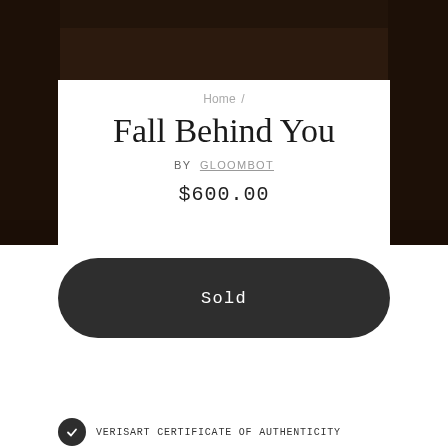[Figure (photo): Dark brown background image of an artwork scene]
Home /
Fall Behind You
BY GLOOMBOT
$600.00
Sold
VERISART CERTIFICATE OF AUTHENTICITY